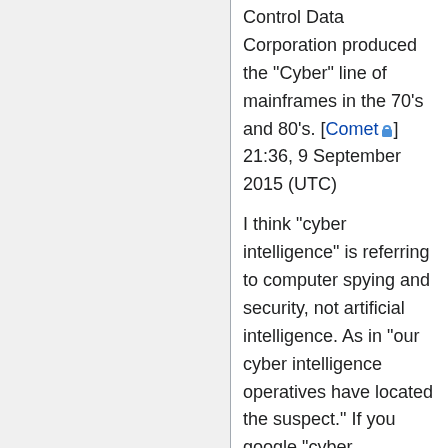Control Data Corporation produced the "Cyber" line of mainframes in the 70's and 80's. [Comet🔒] 21:36, 9 September 2015 (UTC)
I think "cyber intelligence" is referring to computer spying and security, not artificial intelligence. As in "our cyber intelligence operatives have located the suspect." If you google "cyber intelligence," the results are definitely more geared towards security than AI. 108.162.245.105 07:42, 4 September 2015 (UTC)
I see and agree. I (as a German) always tend to forget that "intelligence"